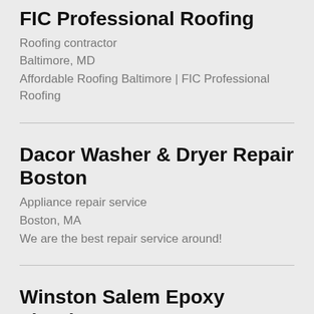FIC Professional Roofing
Roofing contractor
Baltimore, MD
Affordable Roofing Baltimore | FIC Professional Roofing
Dacor Washer & Dryer Repair Boston
Appliance repair service
Boston, MA
We are the best repair service around!
Winston Salem Epoxy Flooring
Flooring contractor